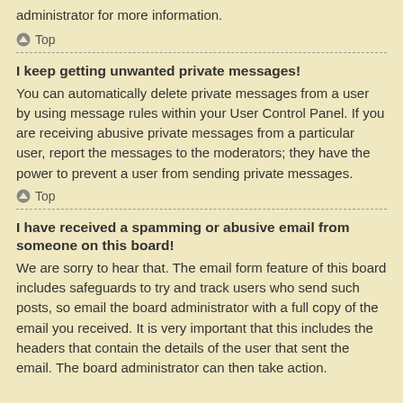administrator for more information.
Top
I keep getting unwanted private messages!
You can automatically delete private messages from a user by using message rules within your User Control Panel. If you are receiving abusive private messages from a particular user, report the messages to the moderators; they have the power to prevent a user from sending private messages.
Top
I have received a spamming or abusive email from someone on this board!
We are sorry to hear that. The email form feature of this board includes safeguards to try and track users who send such posts, so email the board administrator with a full copy of the email you received. It is very important that this includes the headers that contain the details of the user that sent the email. The board administrator can then take action.